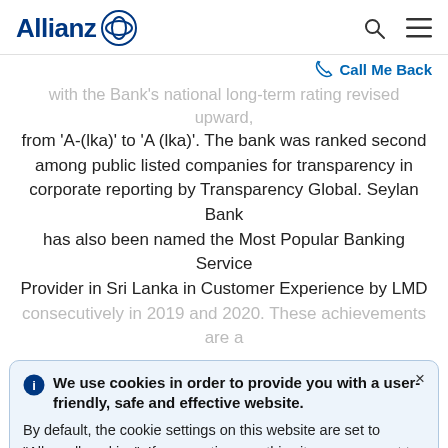Allianz
Call Me Back
with the Bank's national long-term rating revised upward, from 'A-(lka)' to 'A (lka)'. The bank was ranked second among public listed companies for transparency in corporate reporting by Transparency Global. Seylan Bank has also been named the Most Popular Banking Service Provider in Sri Lanka in Customer Experience by LMD consecutively in 2019 and 2020. These achievements are a
We use cookies in order to provide you with a user-friendly, safe and effective website. By default, the cookie settings on this website are set to "Allow all cookies". If you continue on this site, you consent to this. Please visit our Terms of Use if you want to learn more about our cookie policy. → Learn more